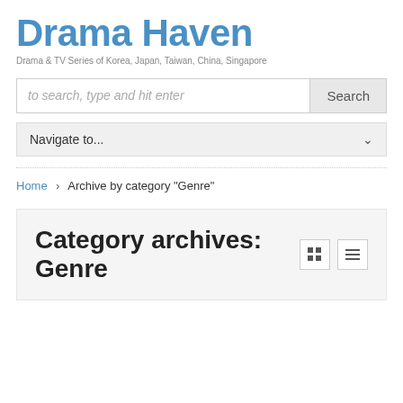Drama Haven
Drama & TV Series of Korea, Japan, Taiwan, China, Singapore
to search, type and hit enter
Navigate to...
Home > Archive by category "Genre"
Category archives: Genre